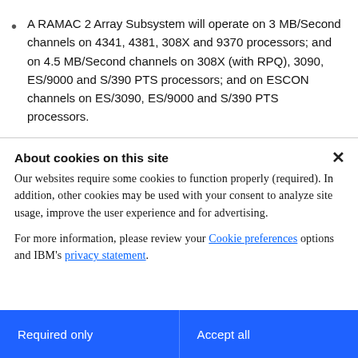A RAMAC 2 Array Subsystem will operate on 3 MB/Second channels on 4341, 4381, 308X and 9370 processors; and on 4.5 MB/Second channels on 308X (with RPQ), 3090, ES/9000 and S/390 PTS processors; and on ESCON channels on ES/3090, ES/9000 and S/390 PTS processors.
About cookies on this site
Our websites require some cookies to function properly (required). In addition, other cookies may be used with your consent to analyze site usage, improve the user experience and for advertising.

For more information, please review your Cookie preferences options and IBM's privacy statement.
Required only
Accept all